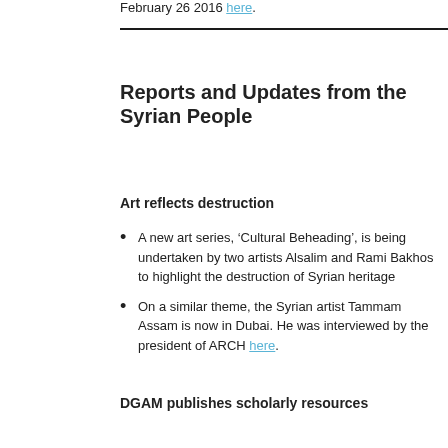February 26 2016 here.
Reports and Updates from the Syrian People
Art reflects destruction
A new art series, ‘Cultural Beheading’, is being undertaken by two artists Alsalim and Rami Bakhos to highlight the destruction of Syrian heritage
On a similar theme, the Syrian artist Tammam Assam is now in Dubai. He was interviewed by the president of ARCH here.
DGAM publishes scholarly resources